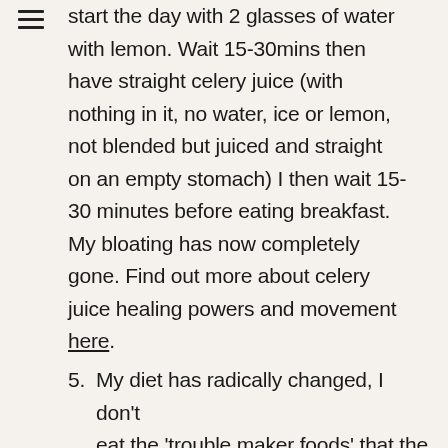start the day with 2 glasses of water with lemon. Wait 15-30mins then have straight celery juice (with nothing in it, no water, ice or lemon, not blended but juiced and straight on an empty stomach) I then wait 15-30 minutes before eating breakfast. My bloating has now completely gone. Find out more about celery juice healing powers and movement here.
My diet has radically changed, I don't eat the 'trouble maker foods' that the medical medium suggests (I might